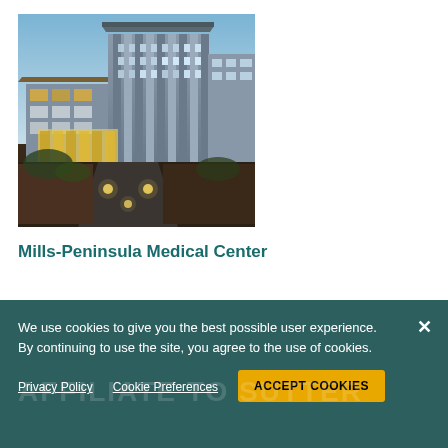[Figure (photo): Exterior photograph of Mills-Peninsula Medical Center building at dusk/evening, showing modern multi-story hospital building with glass facade, illuminated entrance, and landscaped pathway with lighting in the foreground]
Mills-Peninsula Medical Center
We use cookies to give you the best possible user experience. By continuing to use the site, you agree to the use of cookies.
Privacy Policy   Cookie Preferences   ACCEPT COOKIES